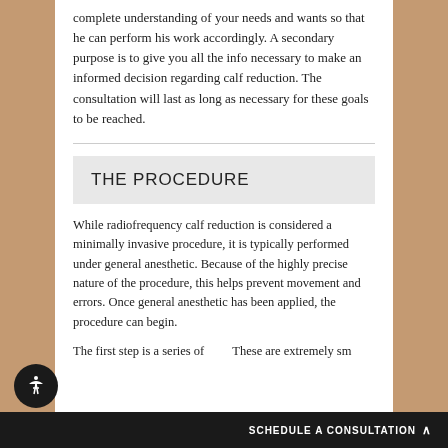complete understanding of your needs and wants so that he can perform his work accordingly. A secondary purpose is to give you all the info necessary to make an informed decision regarding calf reduction. The consultation will last as long as necessary for these goals to be reached.
THE PROCEDURE
While radiofrequency calf reduction is considered a minimally invasive procedure, it is typically performed under general anesthetic. Because of the highly precise nature of the procedure, this helps prevent movement and errors. Once general anesthetic has been applied, the procedure can begin.
The first step is a series of... These are extremely sm... the calf...
SCHEDULE A CONSULTATION